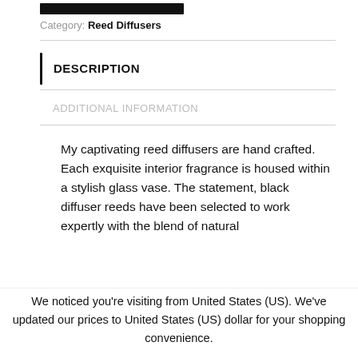[Figure (other): Black bar/button at top of page]
Category: Reed Diffusers
DESCRIPTION
ADDITIONAL INFORMATION
My captivating reed diffusers are hand crafted. Each exquisite interior fragrance is housed within a stylish glass vase. The statement, black diffuser reeds have been selected to work expertly with the blend of natural
We noticed you're visiting from United States (US). We've updated our prices to United States (US) dollar for your shopping convenience.